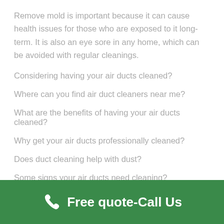Remove mold is important because it can cause health issues for those who are exposed to it long-term. It is also an eye sore in any home, which can be avoided with regular cleanings.
Considering having your air ducts cleaned?
Where can you find air duct cleaners near me?
What are the benefits of having your air ducts cleaned?
Why get your air ducts professionally cleaned?
Does duct cleaning help with dust?
Some signs your air ducts need cleaning?
Free quote-Call Us